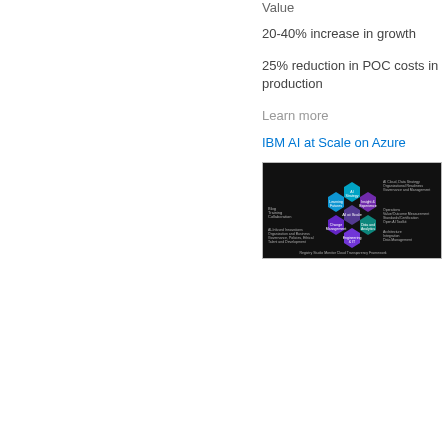Value
20-40% increase in growth
25% reduction in POC costs in production
Learn more
IBM AI at Scale on Azure
[Figure (infographic): IBM AI at Scale on Azure diagram showing hexagonal cells representing AI strategy components on a dark background, including elements like AI Strategy, Data and Analytics, Engineering, and Operations with connecting nodes and labels.]